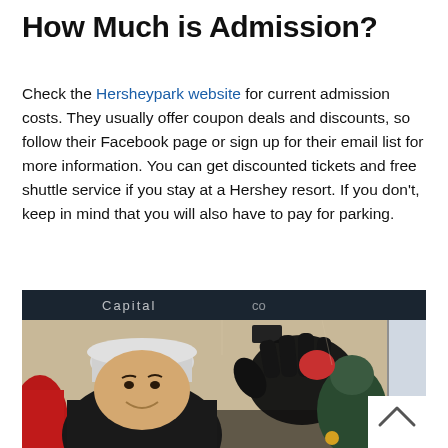How Much is Admission?
Check the Hersheypark website for current admission costs. They usually offer coupon deals and discounts, so follow their Facebook page or sign up for their email list for more information. You can get discounted tickets and free shuttle service if you stay at a Hershey resort. If you don't, keep in mind that you will also have to pay for parking.
[Figure (photo): A smiling woman in a dark hood and light gray hat, waving inside what appears to be a shuttle bus or transit vehicle. Other passengers are visible in the background including someone in a red jacket and someone in green/teal. The interior ceiling and windows of the vehicle are visible.]